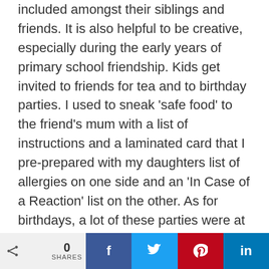included amongst their siblings and friends. It is also helpful to be creative, especially during the early years of primary school friendship. Kids get invited to friends for tea and to birthday parties. I used to sneak 'safe food' to the friend's mum with a list of instructions and a laminated card that I pre-prepared with my daughters list of allergies on one side and an 'In Case of a Reaction' list on the other. As for birthdays, a lot of these parties were at places where food is served 'McDonalds Happy Meal' style, after a session of exhausting play. I used to pre-prepare a safe, but similar, meal for my daughter and take it with me, of course tagging myself along with the party as an adult volunteer. When the food arrives, I would
0 SHARES | f | t | p | in